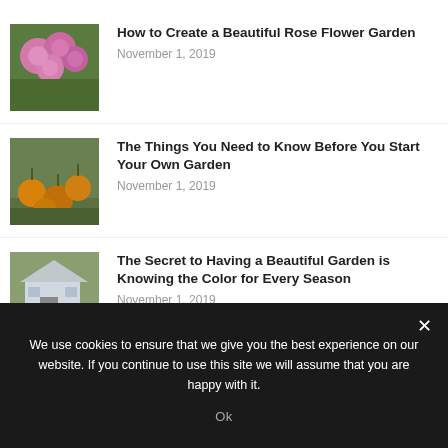[Figure (photo): Partial thumbnail of a garden image at the top, cropped]
[Figure (photo): Pink rose flowers on green foliage]
How to Create a Beautiful Rose Flower Garden
November 1, 2019
[Figure (photo): Orange fruits hanging on a tree with green leaves]
The Things You Need to Know Before You Start Your Own Garden
November 1, 2019
[Figure (photo): White house with colorful garden in foreground]
The Secret to Having a Beautiful Garden is Knowing the Color for Every Season
November 1, 2019
We use cookies to ensure that we give you the best experience on our website. If you continue to use this site we will assume that you are happy with it.
Ok